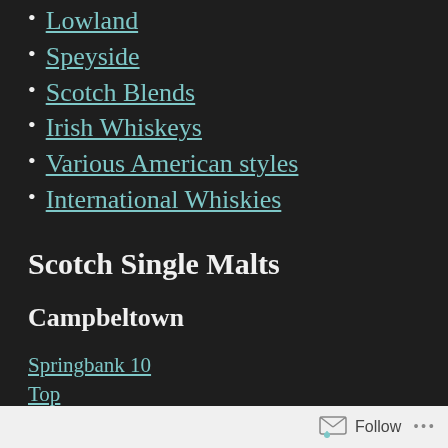Lowland
Speyside
Scotch Blends
Irish Whiskeys
Various American styles
International Whiskies
Scotch Single Malts
Campbeltown
Springbank 10
Top
Follow ...